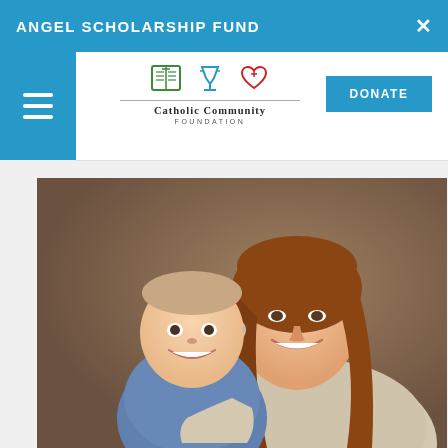ANGEL SCHOLARSHIP FUND
[Figure (logo): Catholic Community Foundation logo with three icons: an open book (green), a chalice (blue), and a heart (red), with text 'Catholic Community Community Foundation' below]
DONATE
[Figure (photo): Portrait photo of a smiling young woman with long brown hair holding a smiling baby/toddler dressed in a blue shirt, against a warm brown studio background]